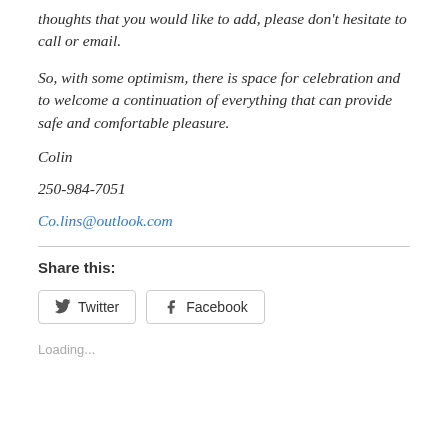thoughts that you would like to add, please don't hesitate to call or email.
So, with some optimism, there is space for celebration and to welcome a continuation of everything that can provide safe and comfortable pleasure.
Colin
250-984-7051
Co.lins@outlook.com
Share this:
Twitter  Facebook
Loading...